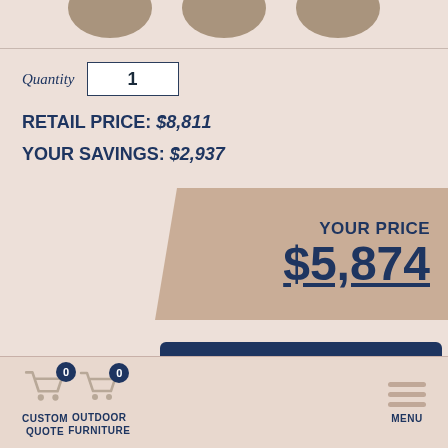[Figure (screenshot): Top partial product image strip showing furniture silhouettes on tan background]
Quantity 1
RETAIL PRICE: $8,811
YOUR SAVINGS: $2,937
YOUR PRICE $5,874
How to Shop Our Website +
CUSTOM QUOTE
OUTDOOR FURNITURE
MENU